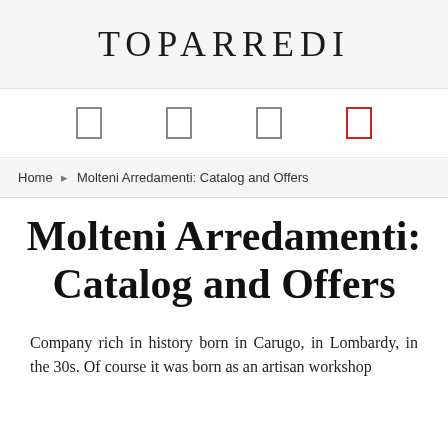TOPARREDI
[Figure (other): Navigation icons: four rectangular icon buttons, the last one in red]
Home › Molteni Arredamenti: Catalog and Offers
Molteni Arredamenti: Catalog and Offers
Company rich in history born in Carugo, in Lombardy, in the 30s. Of course it was born as an artisan workshop